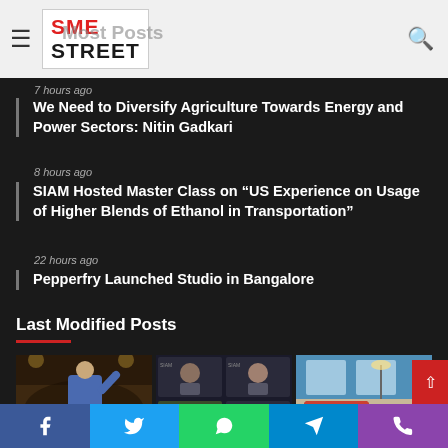SME STREET
Most Posts
7 hours ago
We Need to Diversify Agriculture Towards Energy and Power Sectors: Nitin Gadkari
8 hours ago
SIAM Hosted Master Class on “US Experience on Usage of Higher Blends of Ethanol in Transportation”
22 hours ago
Pepperfry Launched Studio in Bangalore
Last Modified Posts
[Figure (photo): Person speaking at event]
[Figure (photo): Video conference call with multiple participants]
[Figure (photo): Living room furniture display]